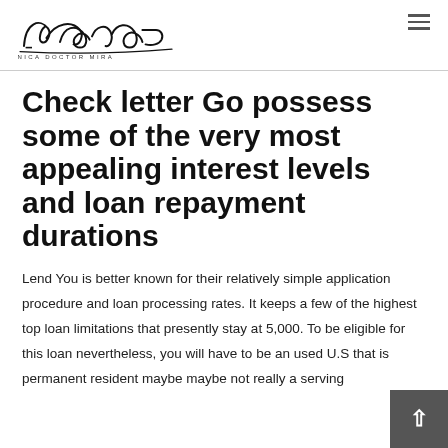Dr. Mira — CLÍNICA DOCTOR MIRA
Check letter Go possess some of the very most appealing interest levels and loan repayment durations
Lend You is better known for their relatively simple application procedure and loan processing rates. It keeps a few of the highest top loan limitations that presently stay at 5,000. To be eligible for this loan nevertheless, you will have to be an used U.S that is permanent resident maybe maybe not really a serving